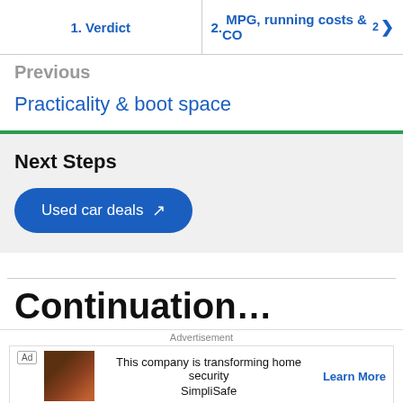1. Verdict | 2. MPG, running costs & CO2
Previous
Practicality & boot space
Next Steps
Used car deals
Advertisement
This company is transforming home security SimpliSafe Learn More